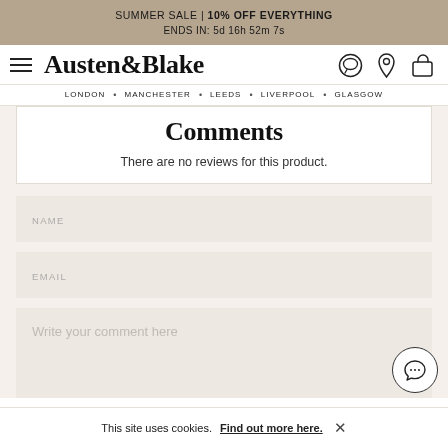SUMMER SALE | 10% OFF EVERYTHING
ENDS IN: 5d 16h 52m 7s
Austen&Blake
LONDON • MANCHESTER • LEEDS • LIVERPOOL • GLASGOW
Comments
There are no reviews for this product.
NAME
EMAIL
Write your comment here
This site uses cookies. Find out more here.